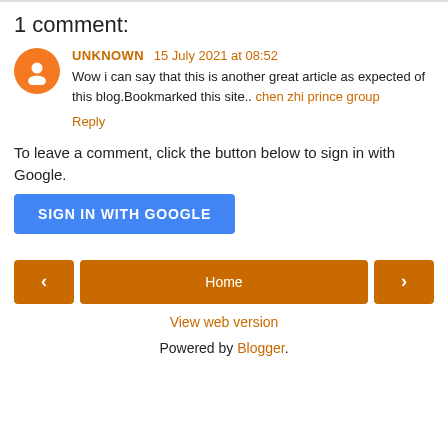1 comment:
UNKNOWN 15 July 2021 at 08:52
Wow i can say that this is another great article as expected of this blog.Bookmarked this site.. chen zhi prince group
Reply
To leave a comment, click the button below to sign in with Google.
[Figure (other): SIGN IN WITH GOOGLE button]
[Figure (other): Navigation bar with left arrow, Home button, right arrow]
View web version
Powered by Blogger.